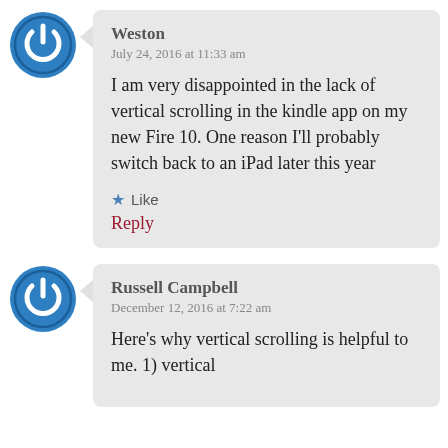[Figure (illustration): Blue circular avatar icon with power button symbol]
Weston
July 24, 2016 at 11:33 am

I am very disappointed in the lack of vertical scrolling in the kindle app on my new Fire 10. One reason I'll probably switch back to an iPad later this year

★ Like
Reply
[Figure (illustration): Blue circular avatar icon with power button symbol]
Russell Campbell
December 12, 2016 at 7:22 am

Here's why vertical scrolling is helpful to me. 1) vertical